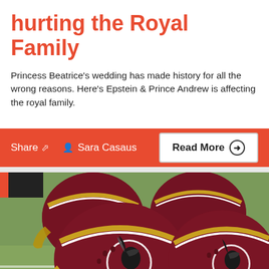hurting the Royal Family
Princess Beatrice's wedding has made history for all the wrong reasons. Here's Epstein & Prince Andrew is affecting the royal family.
[Figure (infographic): Action bar with Share button, Sara Casaus author credit, and Read More button on red/orange background]
[Figure (photo): Multiple Washington Redskins NFL football helmets with maroon and gold colors, featuring the team logo, resting on a field]